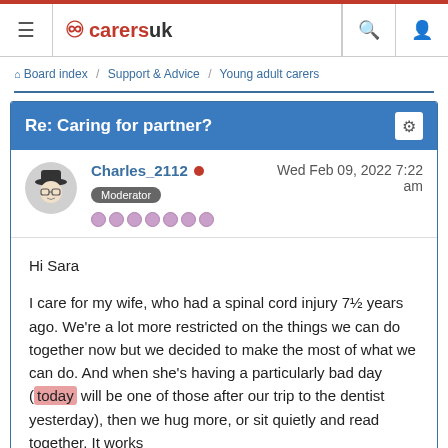carersuk — Board index / Support & Advice / Young adult carers
Re: Caring for partner?
Charles_2112 • Wed Feb 09, 2022 7:22 am — Moderator
Hi Sara

I care for my wife, who had a spinal cord injury 7½ years ago. We're a lot more restricted on the things we can do together now but we decided to make the most of what we can do. And when she's having a particularly bad day (today will be one of those after our trip to the dentist yesterday), then we hug more, or sit quietly and read together. It works